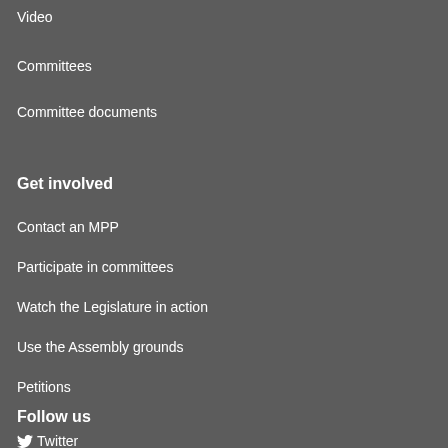Video
Committees
Committee documents
Get involved
Contact an MPP
Participate in committees
Watch the Legislature in action
Use the Assembly grounds
Petitions
Follow us
Twitter